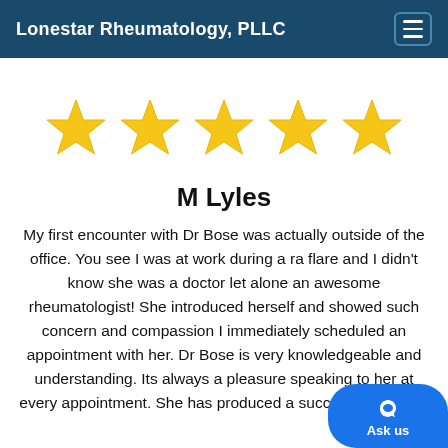Lonestar Rheumatology, PLLC
[Figure (other): Five gold star rating icons displayed in a row]
M Lyles
My first encounter with Dr Bose was actually outside of the office. You see I was at work during a ra flare and I didn't know she was a doctor let alone an awesome rheumatologist! She introduced herself and showed such concern and compassion I immediately scheduled an appointment with her. Dr Bose is very knowledgeable and understanding. Its always a pleasure speaking to her at every appointment. She has produced a successful medical